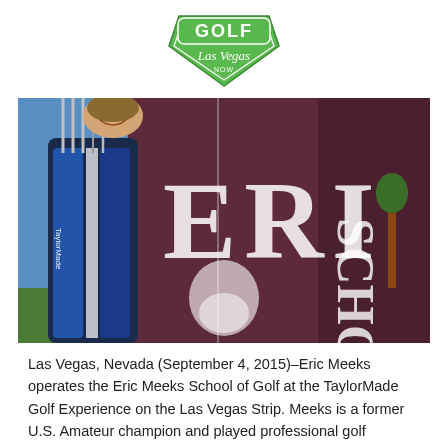[Figure (logo): Golf Las Vegas NOW logo — green diamond/shield shape with 'GOLF' in white letters on green rounded rectangle and 'Las Vegas' in cursive script below]
[Figure (photo): A man smiling partially visible behind a large dark maroon/purple golf bag cover with white letters partially showing 'ERI' and 'SCHO' (Eric Meeks School of Golf). TaylorMade club shafts visible on the left. Outdoor setting with blue sky and green grass.]
Las Vegas, Nevada (September 4, 2015)–Eric Meeks operates the Eric Meeks School of Golf at the TaylorMade Golf Experience on the Las Vegas Strip. Meeks is a former U.S. Amateur champion and played professional golf internationally for many years. Now he focuses his time on helping golfers improve their games, with an emphasis on